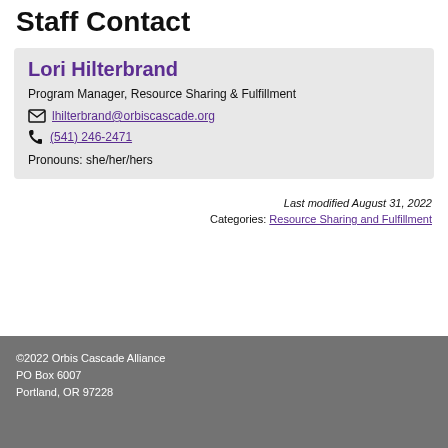Staff Contact
Lori Hilterbrand
Program Manager, Resource Sharing & Fulfillment
lhilterbrand@orbiscascade.org
(541) 246-2471
Pronouns: she/her/hers
Last modified August 31, 2022
Categories: Resource Sharing and Fulfillment
©2022 Orbis Cascade Alliance
PO Box 6007
Portland, OR 97228